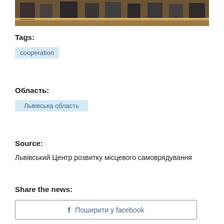[Figure (photo): Photo strip showing people seated at a wooden panel table in a governmental or council setting]
Tags:
cooperation
Область:
Львівська область
Source:
Львівський Центр розвитку місцевого самоврядування
Share the news:
f  Поширити у facebook